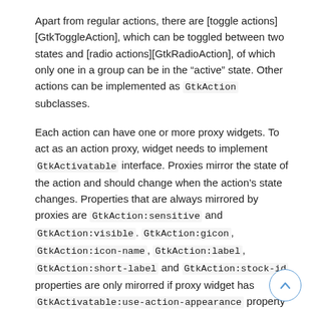Apart from regular actions, there are [toggle actions][GtkToggleAction], which can be toggled between two states and [radio actions][GtkRadioAction], of which only one in a group can be in the “active” state. Other actions can be implemented as GtkAction subclasses.
Each action can have one or more proxy widgets. To act as an action proxy, widget needs to implement GtkActivatable interface. Proxies mirror the state of the action and should change when the action’s state changes. Properties that are always mirrored by proxies are GtkAction:sensitive and GtkAction:visible. GtkAction:gicon, GtkAction:icon-name, GtkAction:label, GtkAction:short-label and GtkAction:stock-id properties are only mirorred if proxy widget has GtkActivatable:use-action-appearance property set to TRUE.
When the proxy is activated, it should activate its action.